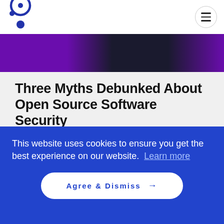[Figure (logo): Circular logo with dot design in dark blue/purple]
[Figure (screenshot): Website header screenshot showing purple/dark gradient hero image with teal horizontal bar]
Three Myths Debunked About Open Source Software Security
TECH NAVIGATOR   60701 VIEWS   4 MIN
This website uses cookies to ensure you get the best experience on our website. Learn more
Agree & Dismiss →